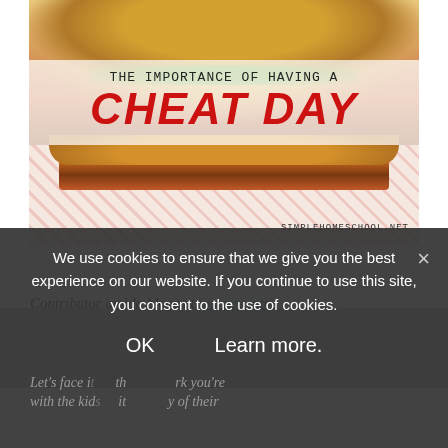[Figure (photo): Photo of a large cheeseburger/hamburger on red patterned paper wrapping, with text overlay reading 'The Importance of Having a CHEAT DAY' and site credit 'simplehomeschool.net']
Contributor amida blogs at journey into homeschooling. She could definitely use a cheat day...
Let's face it... when you work you're with the kids... it... ...y of their entire educational experience, and...
We use cookies to ensure that we give you the best experience on our website. If you continue to use this site, you consent to the use of cookies.